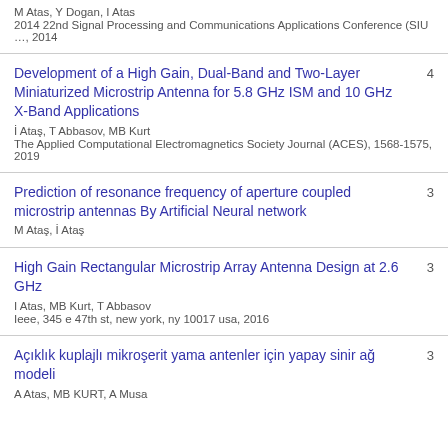M Atas, Y Dogan, I Atas
2014 22nd Signal Processing and Communications Applications Conference (SIU …, 2014
Development of a High Gain, Dual-Band and Two-Layer Miniaturized Microstrip Antenna for 5.8 GHz ISM and 10 GHz X-Band Applications
İ Ataş, T Abbasov, MB Kurt
The Applied Computational Electromagnetics Society Journal (ACES), 1568-1575, 2019
Prediction of resonance frequency of aperture coupled microstrip antennas By Artificial Neural network
M Ataş, İ Ataş
High Gain Rectangular Microstrip Array Antenna Design at 2.6 GHz
I Atas, MB Kurt, T Abbasov
Ieee, 345 e 47th st, new york, ny 10017 usa, 2016
Açıklık kuplajlı mikroşerit yama antenler için yapay sinir ağ modeli
A Atas, MB KURT, A Musa